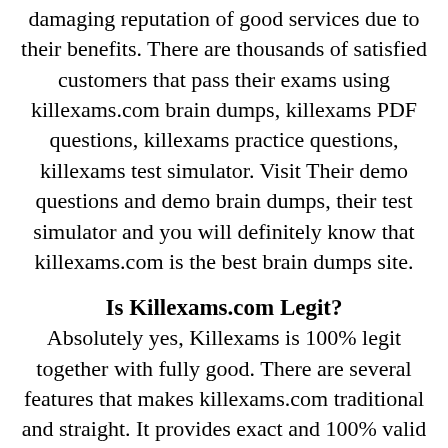damaging reputation of good services due to their benefits. There are thousands of satisfied customers that pass their exams using killexams.com brain dumps, killexams PDF questions, killexams practice questions, killexams test simulator. Visit Their demo questions and demo brain dumps, their test simulator and you will definitely know that killexams.com is the best brain dumps site.
Is Killexams.com Legit?
Absolutely yes, Killexams is 100% legit together with fully good. There are several features that makes killexams.com traditional and straight. It provides exact and 100% valid test dumps made up of real exams questions and answers. Price is small